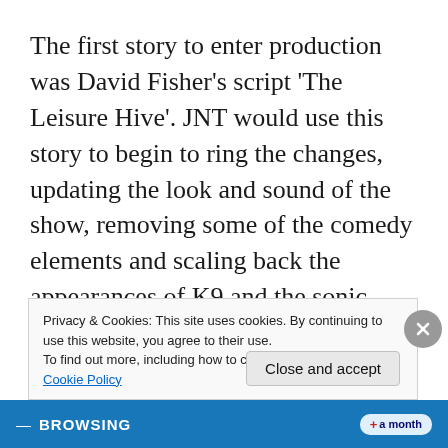The first story to enter production was David Fisher's script 'The Leisure Hive'. JNT would use this story to begin to ring the changes, updating the look and sound of the show, removing some of the comedy elements and scaling back the appearances of K9 and the sonic screwdriver. With the suggestion of Barry Letts and incoming script editor Christopher H Bidmead, there was a return to stories being influenced by real, or at least what could pass for real, science. In this story tachyonics is the
Privacy & Cookies: This site uses cookies. By continuing to use this website, you agree to their use.
To find out more, including how to control cookies, see here: Cookie Policy
Close and accept